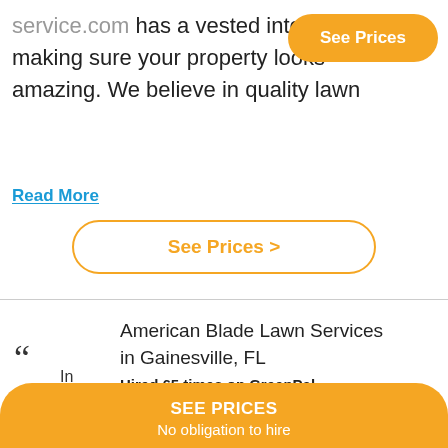service.com has a vested interest in making sure your property looks amazing. We believe in quality lawn
Read More
See Prices >
American Blade Lawn Services in Gainesville, FL
Hired 65 times on GreenPal
(overall rating 4.9/5.  206 Reviews)
SEE PRICES
No obligation to hire
In